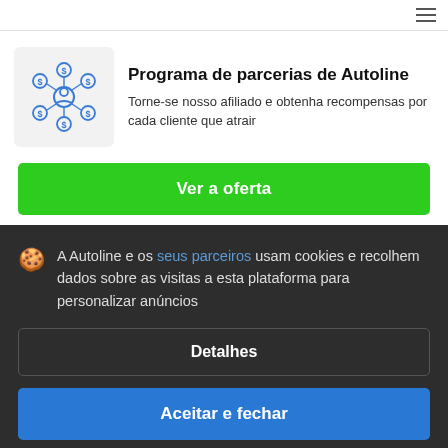[Figure (illustration): Network/affiliate program icon: central person icon connected to dollar-sign nodes in a circular pattern, blue outline on light grey background]
Programa de parcerias de Autoline
Torne-se nosso afiliado e obtenha recompensas por cada cliente que atrair
Ver a oferta
A Autoline e os seus parceiros usam cookies e recolhem dados sobre as visitas a esta plataforma para personalizar anúncios
Detalhes
Aceitar e fechar